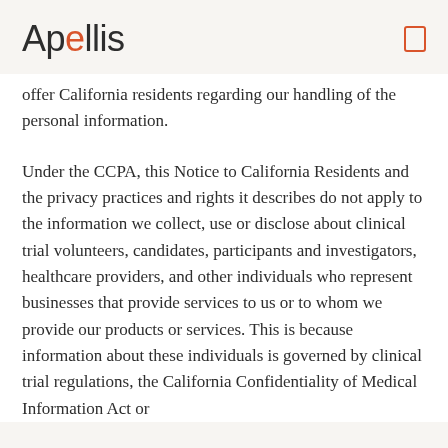Apellis
offer California residents regarding our handling of the personal information.
Under the CCPA, this Notice to California Residents and the privacy practices and rights it describes do not apply to the information we collect, use or disclose about clinical trial volunteers, candidates, participants and investigators, healthcare providers, and other individuals who represent businesses that provide services to us or to whom we provide our products or services. This is because information about these individuals is governed by clinical trial regulations, the California Confidentiality of Medical Information Act or Health Information Portability and Accountability Act